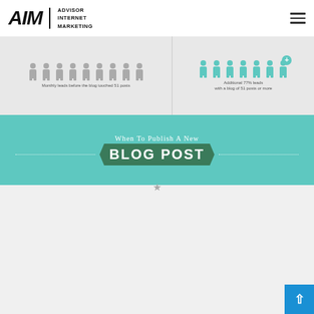[Figure (logo): AIM - Advisor Internet Marketing logo with bold italic AIM text and vertical divider]
[Figure (infographic): Infographic about when to publish a new blog post. Top section shows people icons representing monthly leads before and after blog reached 51 posts. Green section reads 'When To Publish A New BLOG POST'. Lower section shows 65% of people prefer reading blogs in the morning, a clock showing AM/PM, and 10 AM as the most popular time for reading blogs in the morning.]